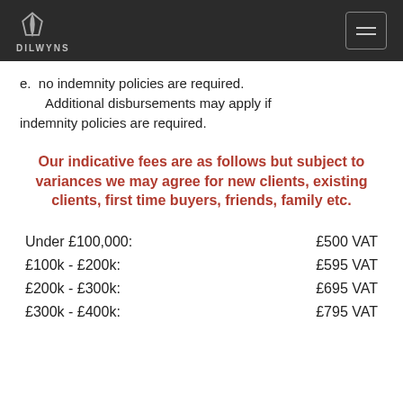DILWYNS
e. no indemnity policies are required. Additional disbursements may apply if indemnity policies are required.
Our indicative fees are as follows but subject to variances we may agree for new clients, existing clients, first time buyers, friends, family etc.
| Price Range | Fee |
| --- | --- |
| Under £100,000: | £500 VAT |
| £100k - £200k: | £595 VAT |
| £200k - £300k: | £695 VAT |
| £300k - £400k: | £795 VAT |